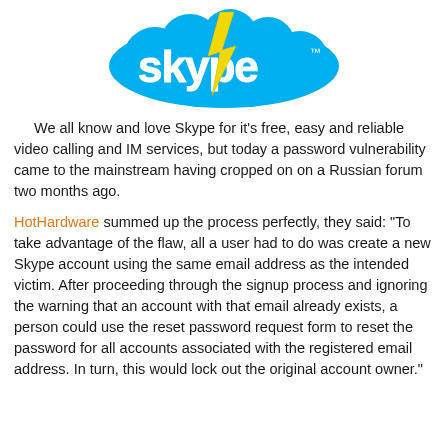[Figure (logo): Skype logo with cloud shape and yellow lightning bolt, white text 'skype' with TM symbol]
We all know and love Skype for it's free, easy and reliable video calling and IM services, but today a password vulnerability came to the mainstream having cropped on on a Russian forum two months ago.
HotHardware summed up the process perfectly, they said: "To take advantage of the flaw, all a user had to do was create a new Skype account using the same email address as the intended victim. After proceeding through the signup process and ignoring the warning that an account with that email already exists, a person could use the reset password request form to reset the password for all accounts associated with the registered email address. In turn, this would lock out the original account owner."